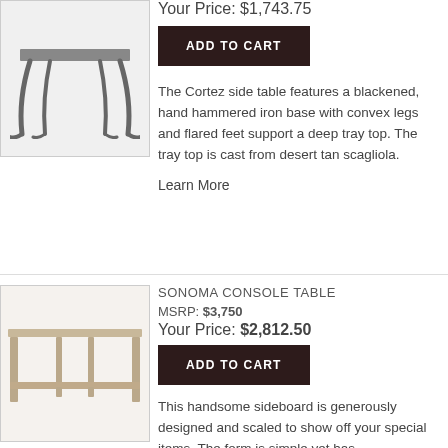[Figure (photo): Iron side table with curved legs and flared feet, partially visible at top]
Your Price: $1,743.75
ADD TO CART
The Cortez side table features a blackened, hand hammered iron base with convex legs and flared feet support a deep tray top. The tray top is cast from desert tan scagliola.
Learn More
SONOMA CONSOLE TABLE
MSRP: $3,750
Your Price: $2,812.50
ADD TO CART
[Figure (photo): Light wood console table with simple rectangular form and lower shelf]
This handsome sideboard is generously designed and scaled to show off your special items. The form is simple yet has